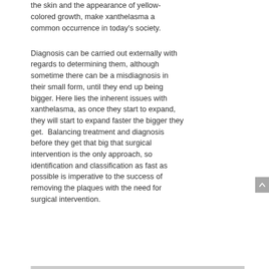the skin and the appearance of yellow-colored growth, make xanthelasma a common occurrence in today's society.
Diagnosis can be carried out externally with regards to determining them, although sometime there can be a misdiagnosis in their small form, until they end up being bigger. Here lies the inherent issues with xanthelasma, as once they start to expand, they will start to expand faster the bigger they get.  Balancing treatment and diagnosis before they get that big that surgical intervention is the only approach, so identification and classification as fast as possible is imperative to the success of removing the plaques with the need for surgical intervention.
[Figure (photo): Partial image visible at bottom of page showing what appears to be a medical instrument or pen on a grey background]